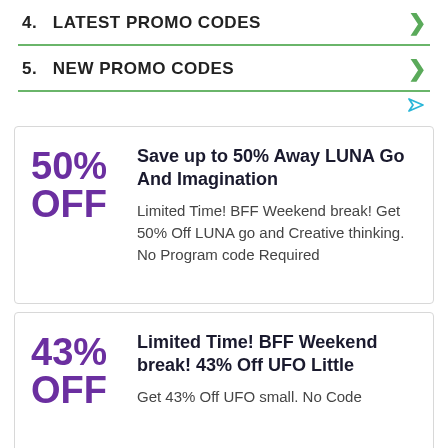4.  LATEST PROMO CODES
5.  NEW PROMO CODES
Save up to 50% Away LUNA Go And Imagination
50% OFF
Limited Time! BFF Weekend break! Get 50% Off LUNA go and Creative thinking. No Program code Required
Limited Time! BFF Weekend break! 43% Off UFO Little
43% OFF
Get 43% Off UFO small. No Code